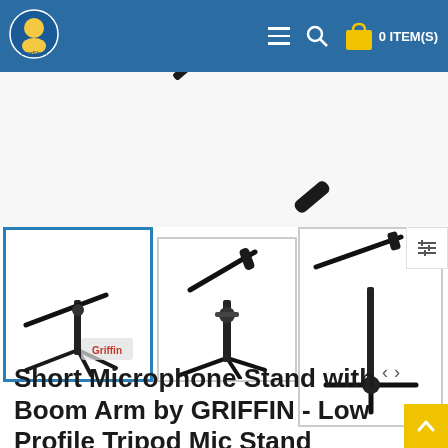0 ITEM(S)
[Figure (photo): Partial view of a short microphone stand with boom arm, showing the top portion against white background]
[Figure (photo): Thumbnail 1 (active/selected): Short microphone boom stand with tripod base by Griffin]
[Figure (photo): Thumbnail 2: Close-up of short boom microphone stand showing adjustment mechanism]
[Figure (photo): Thumbnail 3: Short boom microphone stand with cross-base]
Short Microphone Stand with Boom Arm by GRIFFIN - Low Profile Tripod Mic Stand Mount for Kick Bass Drum, Studio Desktop Sing